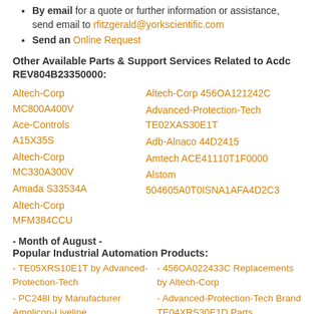By email for a quote or further information or assistance, send email to rfitzgerald@yorkscientific.com
Send an Online Request
Other Available Parts & Support Services Related to Acdc REV804B23350000:
Altech-Corp MC800A400V
Altech-Corp 456OA121242C
Ace-Controls A15X35S
Advanced-Protection-Tech TE02XAS30E1T
Altech-Corp MC330A300V
Adb-Alnaco 44D2415
Amada S33534A
Amtech ACE41110T1F0000
Altech-Corp MFM384CCU
Alstom 504605A0T0ISNA1AFA4D2C3
- Month of August -
Popular Industrial Automation Products:
- TE05XRS10E1T by Advanced-Protection-Tech
- 456OA022433C Replacements by Altech-Corp
- PC248I by Manufacturer Amplicon-Liveline
- Advanced-Protection-Tech Brand TE04XRS30E1D Parts
- Alfa-Laval-Automation 700P012K Equipment
- H06020OPTI4000 Made by Amada